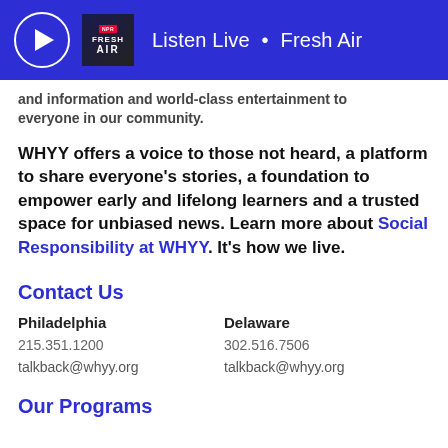Listen Live • Fresh Air
and information and world-class entertainment to everyone in our community.
WHYY offers a voice to those not heard, a platform to share everyone's stories, a foundation to empower early and lifelong learners and a trusted space for unbiased news. Learn more about Social Responsibility at WHYY. It's how we live.
Contact Us
| Philadelphia | Delaware |
| --- | --- |
| 215.351.1200 | 302.516.7506 |
| talkback@whyy.org | talkback@whyy.org |
Our Programs